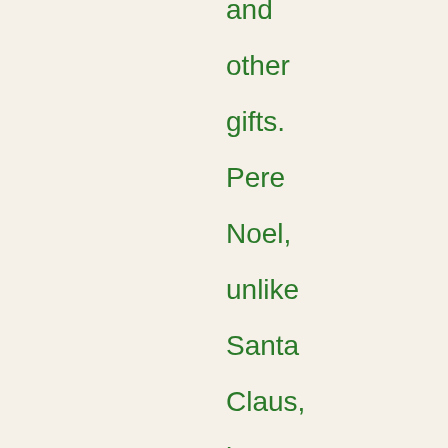and other gifts. Pere Noel, unlike Santa Claus, is a tall, slender old man with a white beard. He